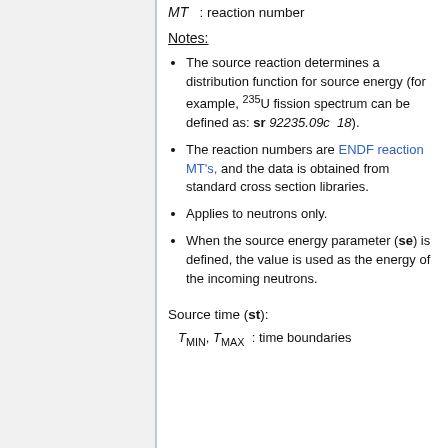MT : reaction number
Notes:
The source reaction determines a distribution function for source energy (for example, 235U fission spectrum can be defined as: sr 92235.09c 18).
The reaction numbers are ENDF reaction MT's, and the data is obtained from standard cross section libraries.
Applies to neutrons only.
When the source energy parameter (se) is defined, the value is used as the energy of the incoming neutrons.
Source time (st):
T_MIN, T_MAX : time boundaries